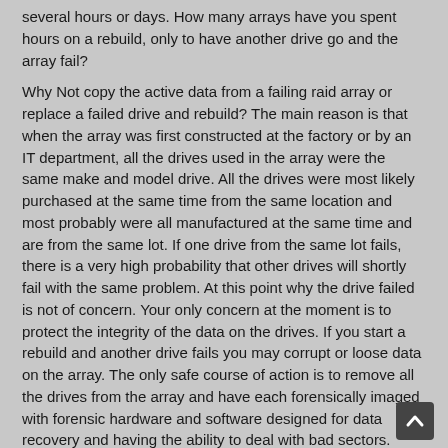several hours or days. How many arrays have you spent hours on a rebuild, only to have another drive go and the array fail?
Why Not copy the active data from a failing raid array or replace a failed drive and rebuild? The main reason is that when the array was first constructed at the factory or by an IT department, all the drives used in the array were the same make and model drive. All the drives were most likely purchased at the same time from the same location and most probably were all manufactured at the same time and are from the same lot. If one drive from the same lot fails, there is a very high probability that other drives will shortly fail with the same problem. At this point why the drive failed is not of concern. Your only concern at the moment is to protect the integrity of the data on the drives. If you start a rebuild and another drive fails you may corrupt or loose data on the array. The only safe course of action is to remove all the drives from the array and have each forensically imaged with forensic hardware and software designed for data recovery and having the ability to deal with bad sectors.
Bad sector failure is the second major concern when attempting to rebuild a failing array. Greater density has been gain on the hard drives by the compression of tracks and sectors to produce greater capacity on the same size platters of 20 years ago. Failing sectors are now more critical then in years past, especially when dealing with multiple drives in a raid array.
For the latest Storage Recovery information Connect with us at Google+ (us-Data Recovery) – Twitter @USDataRecovery on